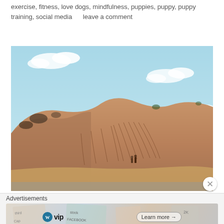exercise, fitness, love dogs, mindfulness, puppies, puppy, puppy training, social media     leave a comment
[Figure (photo): Desert sand dune landscape with light blue sky and white clouds. Sandy slopes with dark erosion lines/tire tracks running down them. Small figures of people visible near the base. Sparse vegetation on the dune top.]
Advertisements
[Figure (other): Advertisement banner featuring WordPress VIP logo and a 'Learn more →' button, with colorful overlapping card/map graphics in the background (showing text fragments: third, Cap, stock, FACEBOOK, Learn more)]